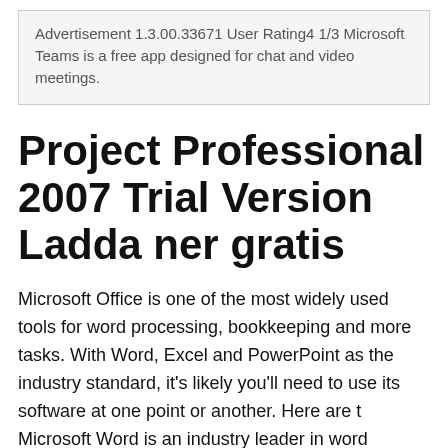Advertisement 1.3.00.33671 User Rating4 1/3 Microsoft Teams is a free app designed for chat and video meetings.
Project Professional 2007 Trial Version Ladda ner gratis
Microsoft Office is one of the most widely used tools for word processing, bookkeeping and more tasks. With Word, Excel and PowerPoint as the industry standard, it's likely you'll need to use its software at one point or another. Here are t Microsoft Word is an industry leader in word processing, and installing